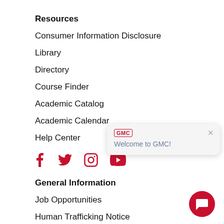Resources
Consumer Information Disclosure
Library
Directory
Course Finder
Academic Catalog
Academic Calendar
Help Center
[Figure (infographic): Social media icons: Facebook, Twitter, Instagram, YouTube in red]
[Figure (screenshot): Chat popup widget with GMC logo and 'Welcome to GMC!' text, plus a red chat button in bottom right corner]
General Information
Job Opportunities
Human Trafficking Notice